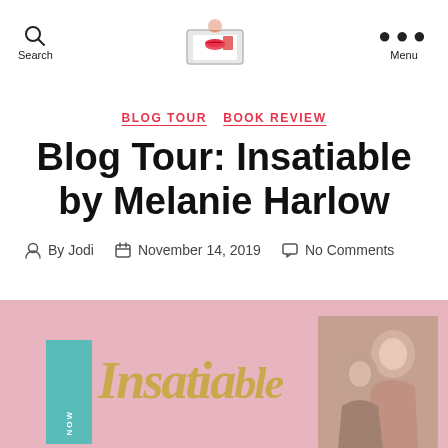Search | [logo] | Menu
BLOG TOUR  BOOK REVIEW
Blog Tour: Insatiable by Melanie Harlow
By Jodi  November 14, 2019  No Comments
[Figure (photo): Pink banner with book cover for Insatiable showing gold script title and a couple embracing, with a teal NOW tab on left side]